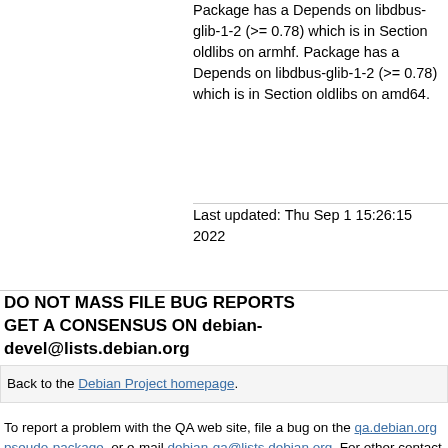Package has a Depends on libdbus-glib-1-2 (>= 0.78) which is in Section oldlibs on armhf. Package has a Depends on libdbus-glib-1-2 (>= 0.78) which is in Section oldlibs on amd64.
Last updated: Thu Sep 1 15:26:15 2022
DO NOT MASS FILE BUG REPORTS GET A CONSENSUS ON debian-devel@lists.debian.org BEFORE MASS FILING BUGS
Back to the Debian Project homepage.
To report a problem with the QA web site, file a bug on the qa.debian.org pseudo-package, or e-mail debian-qa@lists.debian.org. For other contact